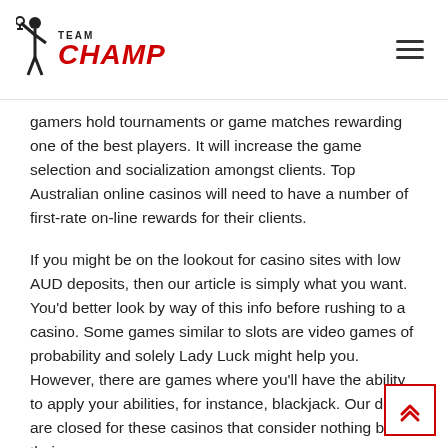TEAM CHAMP
gamers hold tournaments or game matches rewarding one of the best players. It will increase the game selection and socialization amongst clients. Top Australian online casinos will need to have a number of first-rate on-line rewards for their clients.
If you might be on the lookout for casino sites with low AUD deposits, then our article is simply what you want. You’d better look by way of this info before rushing to a casino. Some games similar to slots are video games of probability and solely Lady Luck might help you. However, there are games where you’ll have the ability to apply your abilities, for instance, blackjack. Our doors are closed for these casinos that consider nothing but their very own revenue.
Others allow you to play proper in your browser, no obtain